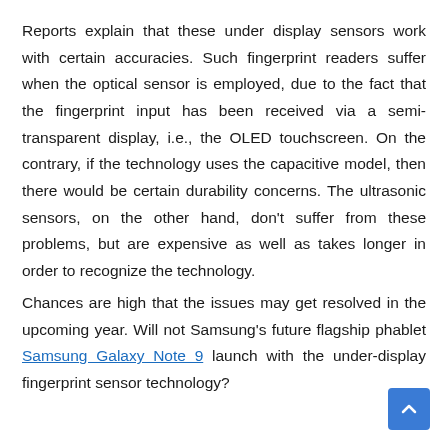Reports explain that these under display sensors work with certain accuracies. Such fingerprint readers suffer when the optical sensor is employed, due to the fact that the fingerprint input has been received via a semi-transparent display, i.e., the OLED touchscreen. On the contrary, if the technology uses the capacitive model, then there would be certain durability concerns. The ultrasonic sensors, on the other hand, don't suffer from these problems, but are expensive as well as takes longer in order to recognize the technology.
Chances are high that the issues may get resolved in the upcoming year. Will not Samsung's future flagship phablet Samsung Galaxy Note 9 launch with the under-display fingerprint sensor technology?